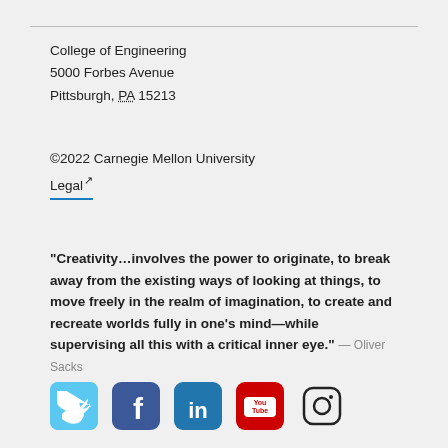College of Engineering
5000 Forbes Avenue
Pittsburgh, PA 15213
©2022 Carnegie Mellon University
Legal ↗
“Creativity…involves the power to originate, to break away from the existing ways of looking at things, to move freely in the realm of imagination, to create and recreate worlds fully in one's mind—while supervising all this with a critical inner eye.” — Oliver Sacks
[Figure (other): Row of five social media icons: Twitter (light blue rounded square), Facebook (dark blue rounded square), LinkedIn (blue rounded square with 'in'), YouTube (red rounded square with 'You Tube'), Instagram (black circle outline with camera icon)]